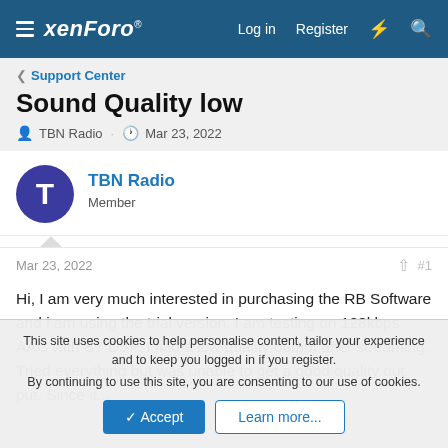xenForo — Log in  Register
< Support Center
Sound Quality low
TBN Radio · Mar 23, 2022
TBN Radio
Member
Mar 23, 2022  #1
Hi, I am very much interested in purchasing the RB Software and i am using the trial version, I am testing on 128kbps AAC with ST DSP. I find a low quality output after streaming, Tried everything but was unable to get a good quality out put. Since it...
This site uses cookies to help personalise content, tailor your experience and to keep you logged in if you register.
By continuing to use this site, you are consenting to our use of cookies.
Accept  Learn more...